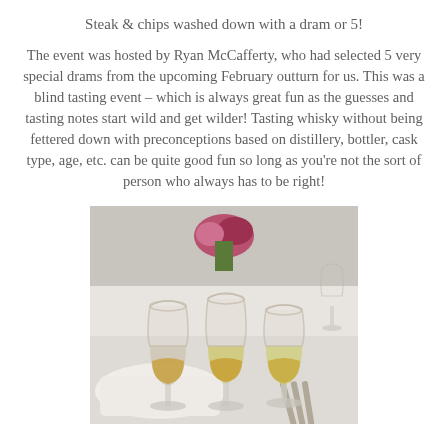Steak & chips washed down with a dram or 5!
The event was hosted by Ryan McCafferty, who had selected 5 very special drams from the upcoming February outturn for us. This was a blind tasting event – which is always great fun as the guesses and tasting notes start wild and get wilder! Tasting whisky without being fettered down with preconceptions based on distillery, bottler, cask type, age, etc. can be quite good fun so long as you're not the sort of person who always has to be right!
[Figure (photo): Three whisky glasses filled with golden whisky arranged on a white tablecloth with silverware visible in the foreground and floral arrangement in the background.]